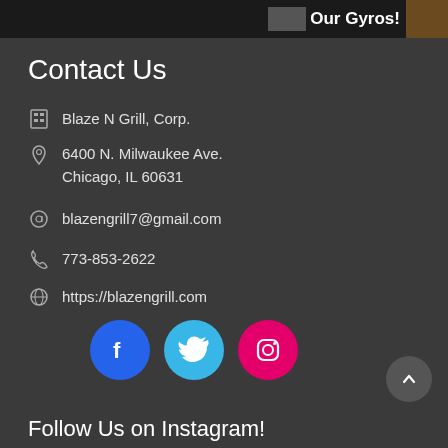Our Gyros!
Contact Us
Blaze N Grill, Corp.
6400 N. Milwaukee Ave.
Chicago, IL 60631
blazengrill7@gmail.com
773-853-2622
https://blazengrill.com
[Figure (infographic): Three social media icon circles: Facebook (blue), Twitter (light blue), Instagram (pink/magenta)]
Follow Us on Instagram!